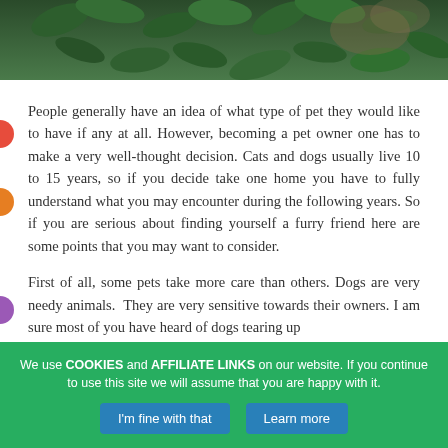[Figure (photo): Photo of green foliage/leaves with what appears to be a dog or cat partially visible, shown cropped at the top of the page]
People generally have an idea of what type of pet they would like to have if any at all. However, becoming a pet owner one has to make a very well-thought decision. Cats and dogs usually live 10 to 15 years, so if you decide take one home you have to fully understand what you may encounter during the following years. So if you are serious about finding yourself a furry friend here are some points that you may want to consider.
First of all, some pets take more care than others. Dogs are very needy animals.  They are very sensitive towards their owners. I am sure most of you have heard of dogs tearing up
We use COOKIES and AFFILIATE LINKS on our website. If you continue to use this site we will assume that you are happy with it.
I'm fine with that   Learn more